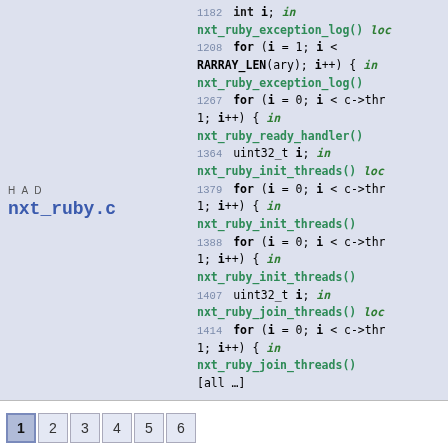HAD    nxt_ruby.c
1182 int i;  in nxt_ruby_exception_log()  loca
1208 for (i = 1; i < RARRAY_LEN(ary); i++) {  in nxt_ruby_exception_log()
1267 for (i = 0; i < c->thr 1; i++) {  in nxt_ruby_ready_handler()
1364 uint32_t i;  in nxt_ruby_init_threads()  loca
1379 for (i = 0; i < c->thr 1; i++) {  in nxt_ruby_init_threads()
1388 for (i = 0; i < c->thr 1; i++) {  in nxt_ruby_init_threads()
1407 uint32_t i;  in nxt_ruby_join_threads()  loca
1414 for (i = 0; i < c->thr 1; i++) {  in nxt_ruby_join_threads()
[all …]
1 2 3 4 5 6